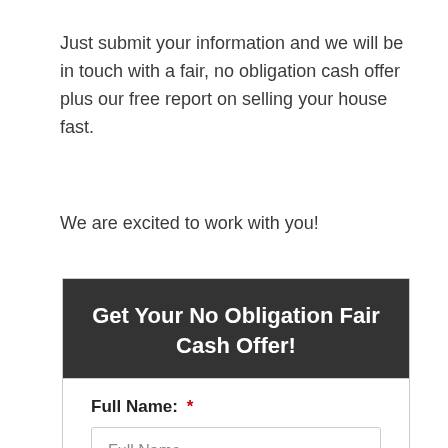Just submit your information and we will be in touch with a fair, no obligation cash offer plus our free report on selling your house fast.
We are excited to work with you!
Get Your No Obligation Fair Cash Offer!
Full Name: *
Full Name